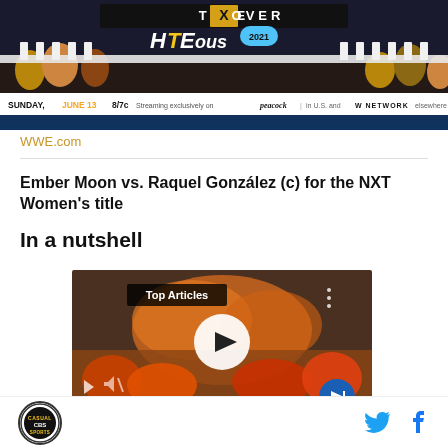[Figure (photo): WWE NXT TakeOver In Your House 2021 promotional banner. Shows 'TAKE X OVER' and 'HiTEous 2021' branding. Text reads: SUNDAY, JUNE 13 8/7c Streaming exclusively on peacock | in U.S. and WWE NETWORK elsewhere]
WWE.com
Ember Moon vs. Raquel González (c) for the NXT Women's title
In a nutshell
[Figure (screenshot): Video player showing a crowd scene with orange smoke/pyrotechnics. Has 'Top Articles' badge, a large white play button in center, small play and mute buttons at bottom left, and a blue next arrow button at bottom right.]
CSS logo icon | Twitter bird icon | Facebook f icon